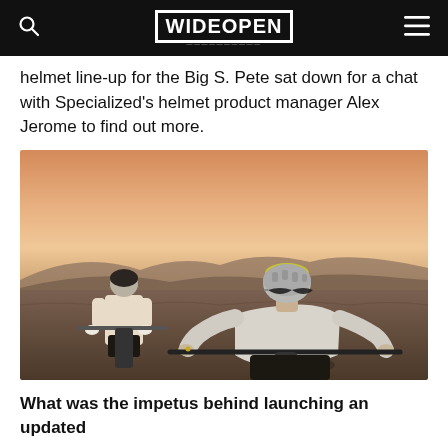WIDE OPEN
helmet line-up for the Big S. Pete sat down for a chat with Specialized's helmet product manager Alex Jerome to find out more.
[Figure (photo): Two mountain bikers wearing helmets riding bikes outdoors at dusk/sunset with hills in background. The foreground rider is a woman in a light gray long-sleeve top wearing a gray and yellow helmet with sunglasses, leaning forward on the bike. Behind her is a man in a white t-shirt wearing a dark helmet.]
What was the impetus behind launching an updated